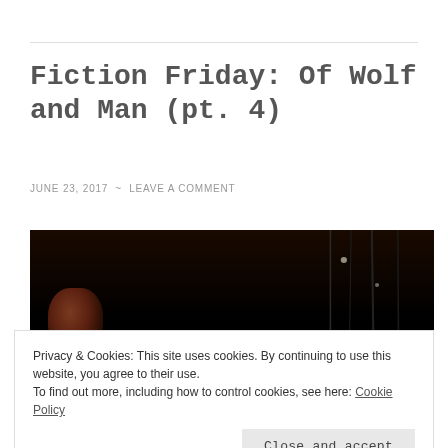Fiction Friday: Of Wolf and Man (pt. 4)
JUNE 23, 2017  ~  LEAVE A COMMENT
[Figure (photo): Dark photograph showing a dimly lit scene with a person's face partially visible on the left side against a very dark background with vertical light streaks]
Privacy & Cookies: This site uses cookies. By continuing to use this website, you agree to their use.
To find out more, including how to control cookies, see here: Cookie Policy
Close and accept